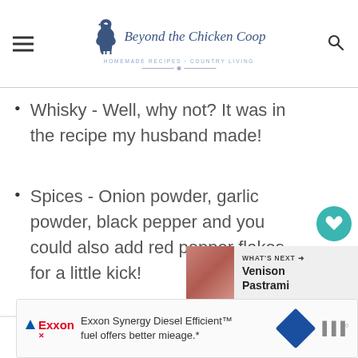Beyond the Chicken Coop — Homemade Recipes · Country Living
Whisky - Well, why not? It was in the recipe my husband made!
Spices - Onion powder, garlic powder, black pepper and you could also add red pepper flakes for a little kick!
[Figure (infographic): Heart/like button with 5.2K count and share button social sidebar]
[Figure (infographic): What's Next promo box with Venison Pastrami and food image]
[Figure (infographic): Exxon Synergy Diesel Efficient advertisement banner at the bottom]